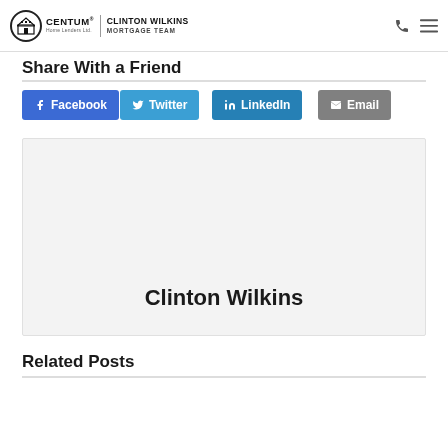CENTUM Home Lenders Ltd. | CLINTON WILKINS MORTGAGE TEAM
Share With a Friend
Facebook
Twitter
LinkedIn
Email
[Figure (other): Author avatar/card placeholder showing name Clinton Wilkins on grey background]
Clinton Wilkins
Related Posts